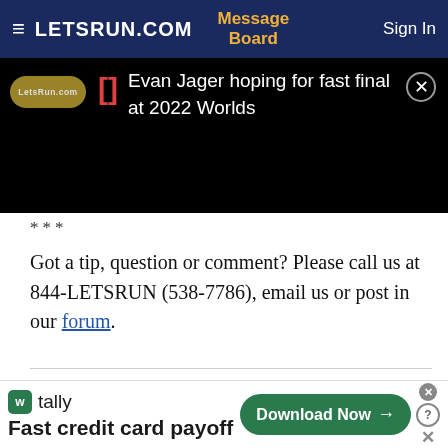≡  LETSRUN.COM    Message Board    Sign In
[Figure (screenshot): LetsRun.com website notification bar showing article link: 'Evan Jager hoping for fast final at 2022 Worlds' with close button, on black background]
***
Got a tip, question or comment? Please call us at 844-LETSRUN (538-7786), email us or post in our forum.
Filed Under:  Week That Was, LRC
[Figure (screenshot): Tally app advertisement banner: 'Fast credit card payoff' with Download Now button]